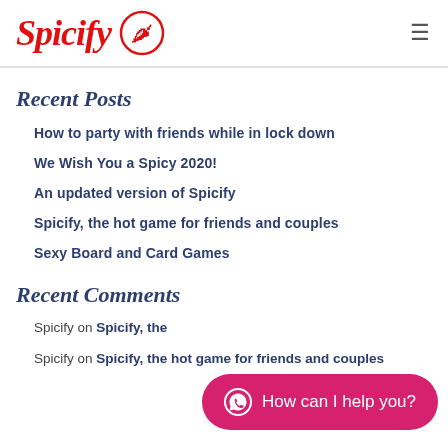Spicify
Recent Posts
How to party with friends while in lock down
We Wish You a Spicy 2020!
An updated version of Spicify
Spicify, the hot game for friends and couples
Sexy Board and Card Games
Recent Comments
Spicify on Spicify, the
Spicify on Spicify, the hot game for friends and couples